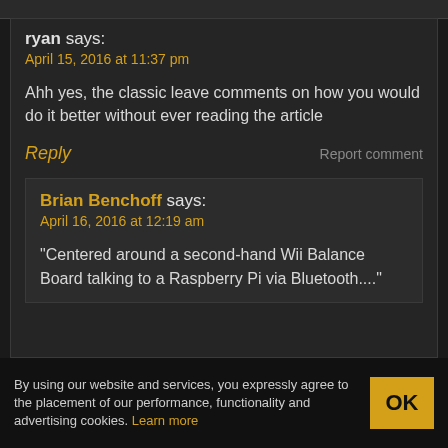ryan says:
April 15, 2016 at 11:37 pm
Ahh yes, the classic leave comments on how you would do it better without ever reading the article
Reply    Report comment
Brian Benchoff says:
April 16, 2016 at 12:19 am
“Centered around a second-hand Wii Balance Board talking to a Raspberry Pi via Bluetooth....”
By using our website and services, you expressly agree to the placement of our performance, functionality and advertising cookies. Learn more